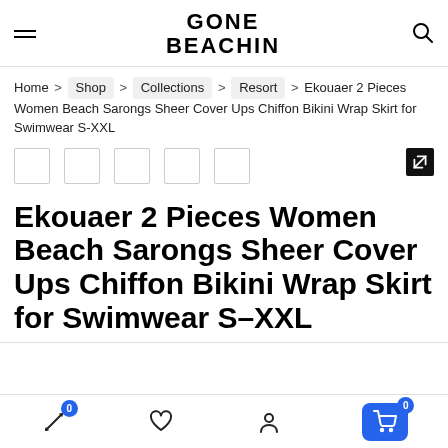GONE BEACHIN
Home > Shop > Collections > Resort > Ekouaer 2 Pieces Women Beach Sarongs Sheer Cover Ups Chiffon Bikini Wrap Skirt for Swimwear S-XXL
[Figure (other): Row of product image thumbnails with expand button]
Ekouaer 2 Pieces Women Beach Sarongs Sheer Cover Ups Chiffon Bikini Wrap Skirt for Swimwear S-XXL
Bottom navigation bar with compare (0), wishlist, account, and cart (0) icons